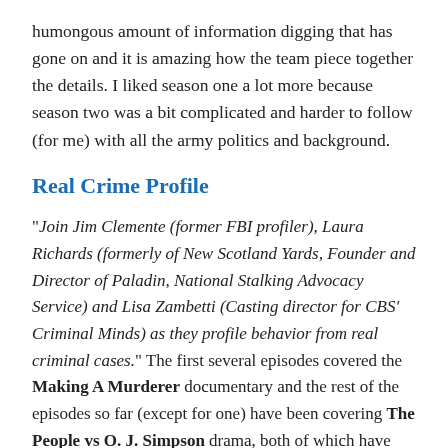humongous amount of information digging that has gone on and it is amazing how the team piece together the details. I liked season one a lot more because season two was a bit complicated and harder to follow (for me) with all the army politics and background.
Real Crime Profile
"Join Jim Clemente (former FBI profiler), Laura Richards (formerly of New Scotland Yards, Founder and Director of Paladin, National Stalking Advocacy Service) and Lisa Zambetti (Casting director for CBS' Criminal Minds) as they profile behavior from real criminal cases." The first several episodes covered the Making A Murderer documentary and the rest of the episodes so far (except for one) have been covering The People vs O. J. Simpson drama, both of which have been hugely successful productions about real crime. This podcast is more of a roundtable discussion, and I love how conversational